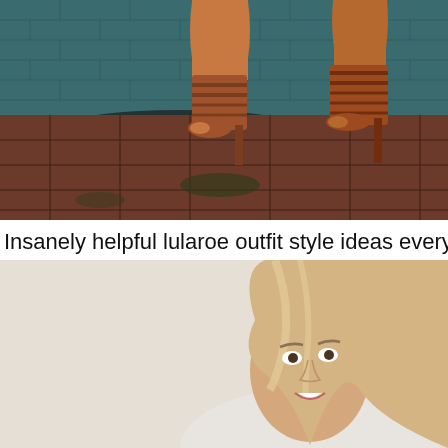[Figure (photo): Close-up photo of a woman's legs wearing brown strappy high-heel sandals, standing on red brick pavement against a teal/dark painted brick wall background.]
Insanely helpful lularoe outfit style ideas every woman
[Figure (photo): Photo of a smiling blonde woman against a light beige/cream wall background, cropped to show her face and upper shoulders.]